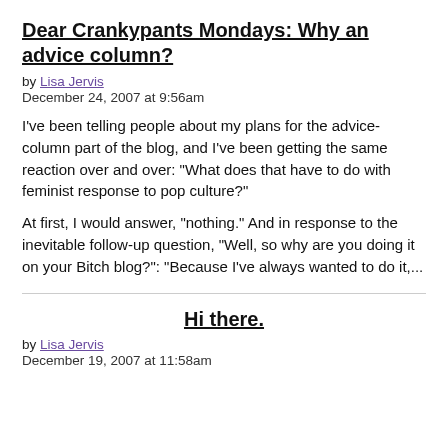Dear Crankypants Mondays: Why an advice column?
by Lisa Jervis
December 24, 2007 at 9:56am
I've been telling people about my plans for the advice-column part of the blog, and I've been getting the same reaction over and over: "What does that have to do with feminist response to pop culture?"
At first, I would answer, "nothing." And in response to the inevitable follow-up question, "Well, so why are you doing it on your Bitch blog?": "Because I've always wanted to do it,...
Hi there.
by Lisa Jervis
December 19, 2007 at 11:58am